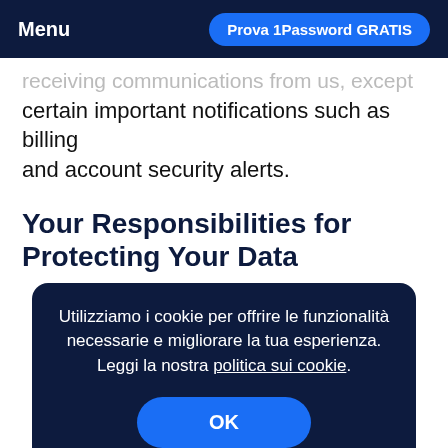Menu | Prova 1Password GRATIS
receiving communications from us, except certain important notifications such as billing and account security alerts.
Your Responsibilities for Protecting Your Data
Utilizziamo i cookie per offrire le funzionalità necessarie e migliorare la tua esperienza. Leggi la nostra politica sui cookie.
OK
For your protection, you should create a